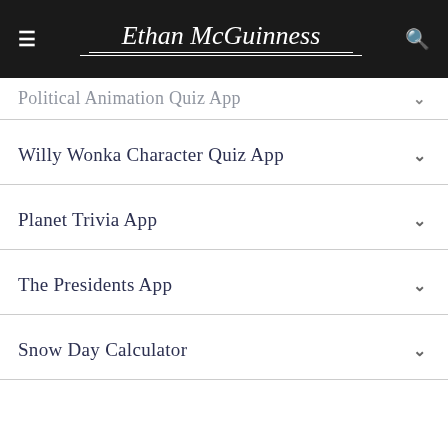Ethan McGuinness
Political Animation Quiz App
Willy Wonka Character Quiz App
Planet Trivia App
The Presidents App
Snow Day Calculator